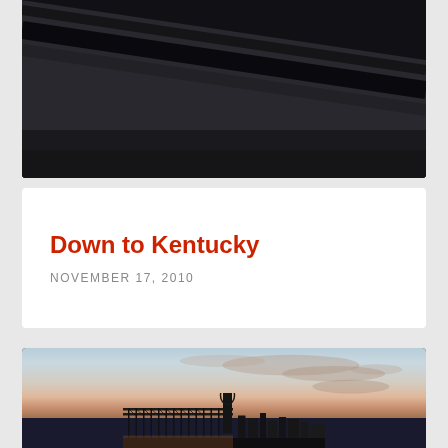[Figure (photo): Top portion of a dark interior photo, appears to be taken from inside a vehicle or through a window, showing dark diagonal lines against a dark background]
Down to Kentucky
NOVEMBER 17, 2010
[Figure (photo): Cityscape/skyline photo at sunset or dusk showing a large bridge (appears to be in Cincinnati/Kentucky area) with city buildings silhouetted against a colorful sunset sky with clouds]